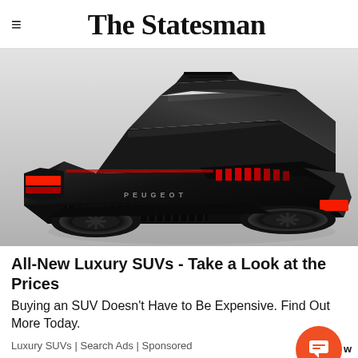The Statesman
[Figure (photo): Rear three-quarter view of a sleek black Peugeot concept car/luxury SUV on a white background, with red accent lighting on taillights and rear diffuser.]
All-New Luxury SUVs - Take a Look at the Prices
Buying an SUV Doesn't Have to Be Expensive. Find Out More Today.
Luxury SUVs | Search Ads | Sponsored